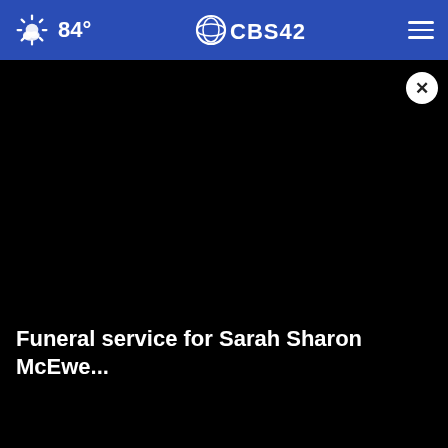84° CBS42
[Figure (screenshot): Black video player area with a close (X) button in the upper right corner]
Funeral service for Sarah Sharon McEwe...